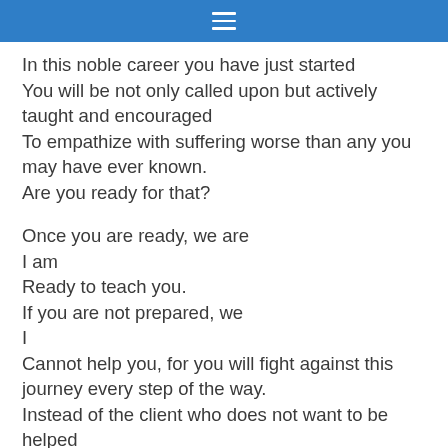≡
In this noble career you have just started
You will be not only called upon but actively taught and encouraged
To empathize with suffering worse than any you may have ever known.
Are you ready for that?

Once you are ready, we are
I am
Ready to teach you.
If you are not prepared, we
I
Cannot help you, for you will fight against this journey every step of the way.
Instead of the client who does not want to be helped
You will be the student who does not want to learn